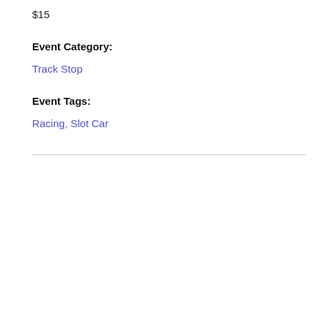$15
Event Category:
Track Stop
Event Tags:
Racing, Slot Car